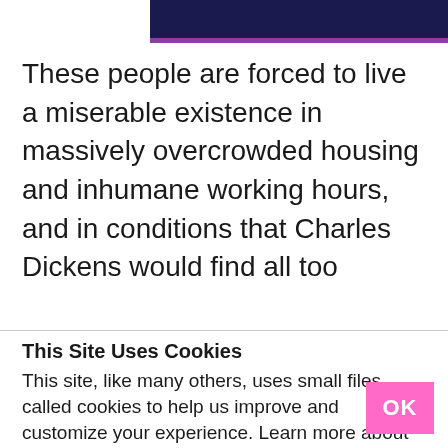[Figure (other): Dark navy blue header banner with purple bottom border, partially visible at top of page]
These people are forced to live a miserable existence in massively overcrowded housing and inhumane working hours, and in conditions that Charles Dickens would find all too
This Site Uses Cookies
This site, like many others, uses small files called cookies to help us improve and customize your experience. Learn more about how we use cookies in our cookie policy.